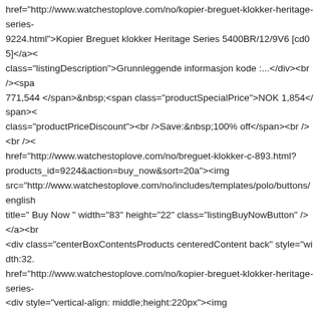href="http://www.watchestoplove.com/no/kopier-breguet-klokker-heritage-series-9224.html">Kopier Breguet klokker Heritage Series 5400BR/12/9V6 [cd05]</a><< class="listingDescription">Grunnleggende informasjon kode :...</div><br /><spa 771,544 </span>&nbsp;<span class="productSpecialPrice">NOK 1,854</span>< class="productPriceDiscount"><br />Save:&nbsp;100% off</span><br /><br />< href="http://www.watchestoplove.com/no/breguet-klokker-c-893.html? products_id=9224&action=buy_now&sort=20a"><img src="http://www.watchestoplove.com/no/includes/templates/polo/buttons/english title=" Buy Now " width="83" height="22" class="listingBuyNowButton" /></a><br <div class="centerBoxContentsProducts centeredContent back" style="width:32. href="http://www.watchestoplove.com/no/kopier-breguet-klokker-heritage-series- <div style="vertical-align: middle;height:220px"><img src="http://www.watchestoplove.com/no/images//xwatches_/Breguet-watches/He watches-Heritage-Series-5460BA-12-1.jpg" alt="Kopier Breguet klokker Heritage title=" Kopier Breguet klokker Heritage Series 5460BA/12/996 [5004] " width="14 class="listingProductImage" id="listimg" /></div></a><br /><h3 class="itemTitle" href="http://www.watchestoplove.com/no/kopier-breguet-klokker-heritage-series-19048.html">Kopier Breguet klokker Heritage Series 5460BA/12/996 [5004]</a> class="listingDescription">Grunnleggende informasjon kode :...</div><br /><spa 1,358,100 </span>&nbsp;<span class="productSpecialPrice">NOK 2,027</span> class="productPriceDiscount"><br />Save:&nbsp;100% off</span><br /><br />< href="http://www.watchestoplove.com/no/breguet-klokker-c-893.html? products_id=19048&action=buy_now&sort=20a"><img src="http://www.watchestoplove.com/no/includes/templates/polo/buttons/english title=" Buy Now " width="83" height="22" class="listingBuyNowButton" /></a><b